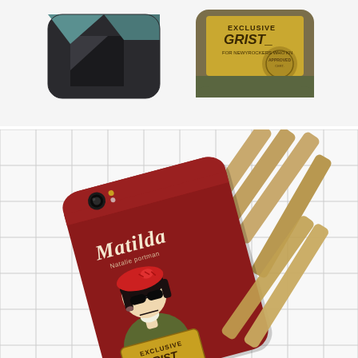[Figure (photo): Top photo showing two phone cases on a white surface. Left case is dark brown/charcoal with a geometric felt design showing dark shapes. Right case is olive/army green and yellow with 'EXCLUSIVE GRIST_ FOR NEWYROCKERS WHO KN' printed on a vintage-style label. The cases are photographed from above on a clean white background.]
[Figure (photo): Bottom photo showing a dark red/burgundy iPhone case featuring the 'Matilda' character design (from the movie Leon: The Professional). The case displays text 'Matilda' in mixed serif/sans font and 'Natalie portman' below it. The illustration shows a cartoon girl with a red beret, sunglasses, black bob hair, holding a 'EXCLUSIVE GRIST_ FOR NEWYROCKERS WHO KN' sign. The case is placed on a white grid-patterned surface with wooden stick/dowel props arranged decoratively around it.]